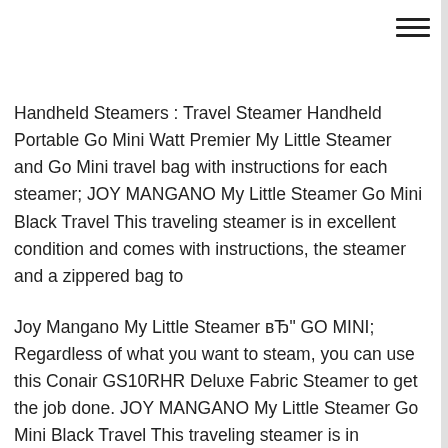Handheld Steamers : Travel Steamer Handheld Portable Go Mini Watt Premier My Little Steamer and Go Mini travel bag with instructions for each steamer; JOY MANGANO My Little Steamer Go Mini Black Travel This traveling steamer is in excellent condition and comes with instructions, the steamer and a zippered bag to
Joy Mangano My Little Steamer вЂ" GO MINI; Regardless of what you want to steam, you can use this Conair GS10RHR Deluxe Fabric Steamer to get the job done. JOY MANGANO My Little Steamer Go Mini Black Travel This traveling steamer is in excellent condition and comes with